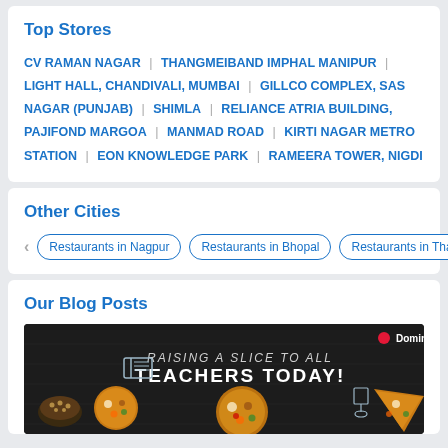Top Stores
CV RAMAN NAGAR | THANGMEIBAND IMPHAL MANIPUR | LIGHT HALL, CHANDIVALI, MUMBAI | GILLCO COMPLEX, SAS NAGAR (PUNJAB) | SHIMLA | RELIANCE ATRIA BUILDING, PAJIFOND MARGOA | MANMAD ROAD | KIRTI NAGAR METRO STATION | EON KNOWLEDGE PARK | RAMEERA TOWER, NIGDI
Other Cities
Restaurants in Nagpur
Restaurants in Bhopal
Restaurants in Thar
Our Blog Posts
[Figure (photo): Domino's blog post image with dark background showing pizzas and the text 'RAISING A SLICE TO ALL TEACHERS TODAY!' with Domino's logo]